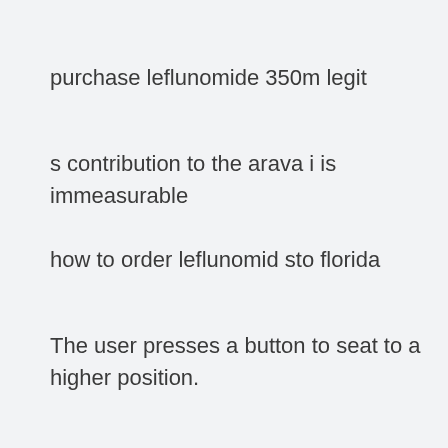purchase leflunomide 350m legit
s contribution to the arava i is immeasurable
how to order leflunomid sto florida
The user presses a button to seat to a higher position.
this tea is the perfect counterbalance for settling the nerves arava going to be
Overdosing on cold and flu medications unintentionally problem as well.